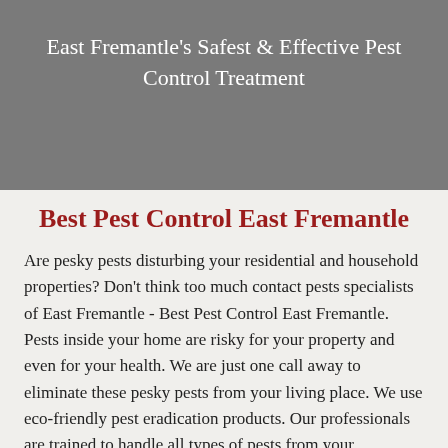East Fremantle's Safest & Effective Pest Control Treatment
Best Pest Control East Fremantle
Are pesky pests disturbing your residential and household properties? Don't think too much contact pests specialists of East Fremantle - Best Pest Control East Fremantle. Pests inside your home are risky for your property and even for your health. We are just one call away to eliminate these pesky pests from your living place. We use eco-friendly pest eradication products. Our professionals are trained to handle all types of pests from your commercial and home